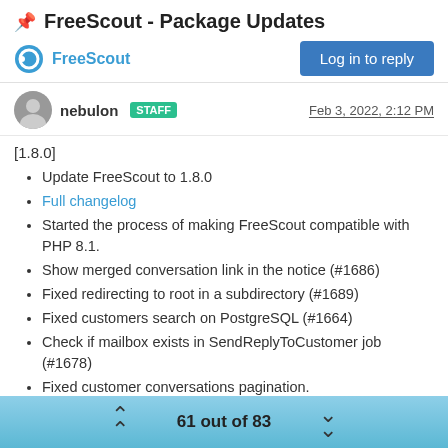📌 FreeScout - Package Updates
FreeScout   Log in to reply
nebulon STAFF   Feb 3, 2022, 2:12 PM
[1.8.0]
Update FreeScout to 1.8.0
Full changelog
Started the process of making FreeScout compatible with PHP 8.1.
Show merged conversation link in the notice (#1686)
Fixed redirecting to root in a subdirectory (#1689)
Fixed customers search on PostgreSQL (#1664)
Check if mailbox exists in SendReplyToCustomer job (#1678)
Fixed customer conversations pagination.
Fixed search pagination with complex search filters.
Light color for spam conversations (#1680)
61 out of 83